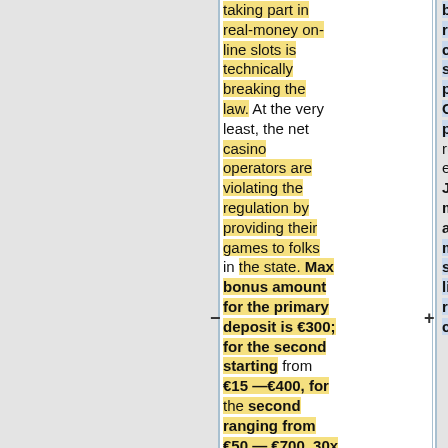taking part in real-money on-line slots is technically breaking the law. At the very least, the net casino operators are violating the regulation by providing their games to folks in the state. Max bonus amount for the primary deposit is €300; for the second starting from €15 —€400, for the second ranging from €50 — €700. 30x
be in a child-resistant container or should be positioned in a CR exit package. New rules that took effect from January 2020 mandated that all the merchandise should be in a licensed child-resistant container.